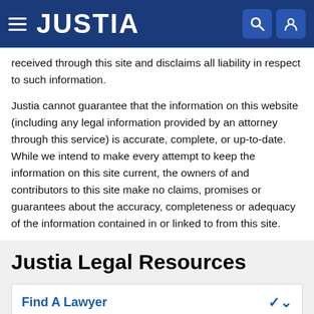JUSTIA
received through this site and disclaims all liability in respect to such information.
Justia cannot guarantee that the information on this website (including any legal information provided by an attorney through this service) is accurate, complete, or up-to-date. While we intend to make every attempt to keep the information on this site current, the owners of and contributors to this site make no claims, promises or guarantees about the accuracy, completeness or adequacy of the information contained in or linked to from this site.
Justia Legal Resources
Find A Lawyer
Individuals